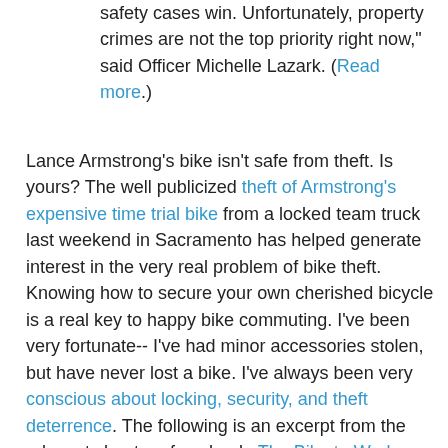safety cases win. Unfortunately, property crimes are not the top priority right now," said Officer Michelle Lazark. (Read more.)
Lance Armstrong's bike isn't safe from theft. Is yours? The well publicized theft of Armstrong's expensive time trial bike from a locked team truck last weekend in Sacramento has helped generate interest in the very real problem of bike theft. Knowing how to secure your own cherished bicycle is a real key to happy bike commuting. I've been very fortunate-- I've had minor accessories stolen, but have never lost a bike. I've always been very conscious about locking, security, and theft deterrence. The following is an excerpt from the relevant chapter of my book, The Bike to Work Guide: What You Need to Know to Save Gas, Go Green, Get Fit :
You've arrived at work. Now you need a place to leave your bicycle.
Sadly, employers in the United States are not very enlightened about bicycle parking. They aren't reluctant to provide parking for their